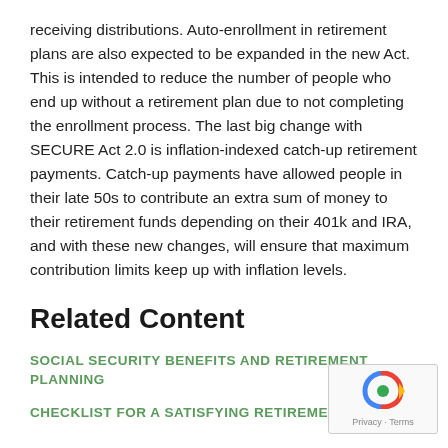receiving distributions. Auto-enrollment in retirement plans are also expected to be expanded in the new Act. This is intended to reduce the number of people who end up without a retirement plan due to not completing the enrollment process. The last big change with SECURE Act 2.0 is inflation-indexed catch-up retirement payments. Catch-up payments have allowed people in their late 50s to contribute an extra sum of money to their retirement funds depending on their 401k and IRA, and with these new changes, will ensure that maximum contribution limits keep up with inflation levels.
Related Content
SOCIAL SECURITY BENEFITS AND RETIREMENT PLANNING
CHECKLIST FOR A SATISFYING RETIREMENT